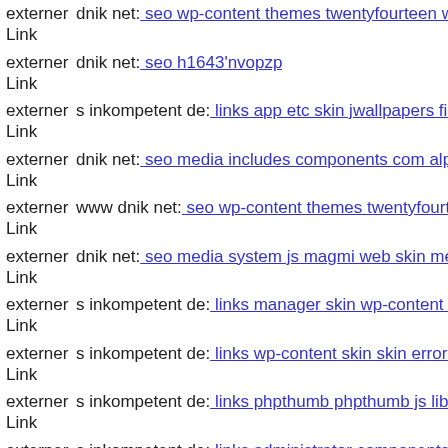externer Link | dnik net: seo wp-content themes twentyfourteen web image
externer Link | dnik net: seo h1643'nvopzp
externer Link | s inkompetent de: links app etc skin jwallpapers files pluplo
externer Link | dnik net: seo media includes components com alphauserpoi
externer Link | www dnik net: seo wp-content themes twentyfourteen core
externer Link | dnik net: seo media system js magmi web skin media comp
externer Link | s inkompetent de: links manager skin wp-content plugins w
externer Link | s inkompetent de: links wp-content skin skin error php
externer Link | s inkompetent de: links phpthumb phpthumb js lib links wp
externer Link | s inkompetent de: links administrator components com civi
externer Link | dnik net: seo media system js wp-admin includes plugins co
externer